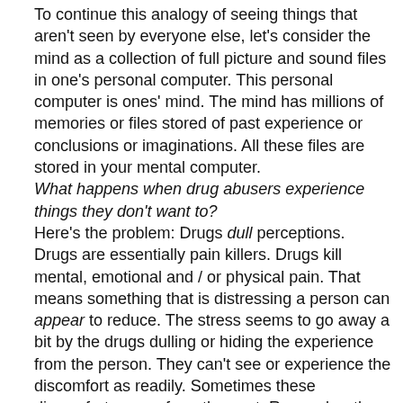To continue this analogy of seeing things that aren't seen by everyone else, let's consider the mind as a collection of full picture and sound files in one's personal computer. This personal computer is ones' mind. The mind has millions of memories or files stored of past experience or conclusions or imaginations. All these files are stored in your mental computer.
What happens when drug abusers experience things they don't want to?
Here's the problem: Drugs dull perceptions. Drugs are essentially pain killers. Drugs kill mental, emotional and / or physical pain. That means something that is distressing a person can appear to reduce. The stress seems to go away a bit by the drugs dulling or hiding the experience from the person. They can't see or experience the discomfort as readily. Sometimes these discomforts come from the past. Remember the mind is made up of past experiences or memory pictures.
Drug abusers have been solving their problems by dulling out their abilities to see these problems. At times the problems right in front of them are unseen by a drug abuser. Other times issues from their past are blocked